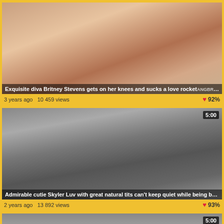[Figure (photo): Video thumbnail showing adult content - Britney Stevens]
Exquisite diva Britney Stevens gets on her knees and sucks a love rocket
3 years ago  10 459 views  ♥ 92%
[Figure (photo): Video thumbnail showing adult content - Skyler Luv, duration 5:00]
Admirable cutie Skyler Luv with great natural tits can't keep quiet while being banged b...
2 years ago  13 892 views  ♥ 93%
[Figure (photo): Partial video thumbnail, duration 5:00]